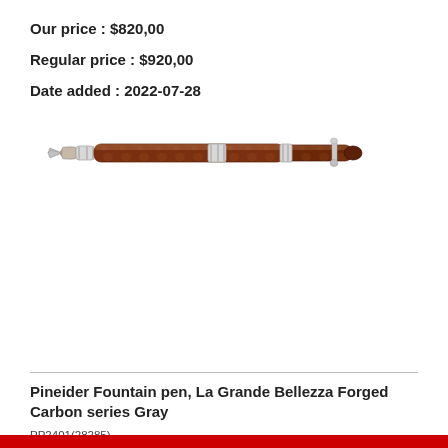Our price : $820,00
Regular price : $920,00
Date added : 2022-07-28
[Figure (photo): Pineider fountain pen with amber/tortoise shell resin body and silver trim, shown horizontally with nib visible on the left]
Pineider Fountain pen, La Grande Bellezza Forged Carbon series Gray
PP2401(28285)
Our price : $1 450,00